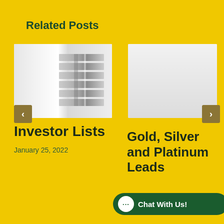Related Posts
[Figure (photo): Stacked white binders/folders against a white background]
Investor Lists
January 25, 2022
[Figure (photo): Plain white/light grey rectangle, blank image placeholder]
Gold, Silver and Platinum Leads
January 28, 2022